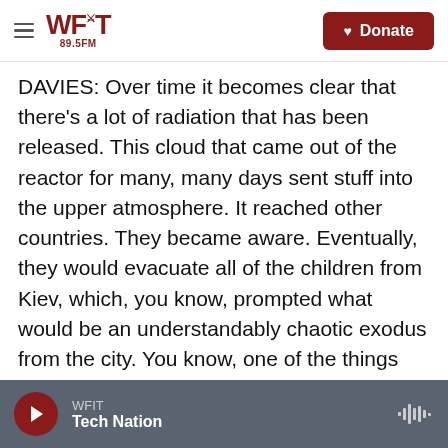WFIT 89.5FM | Donate
DAVIES: Over time it becomes clear that there's a lot of radiation that has been released. This cloud that came out of the reactor for many, many days sent stuff into the upper atmosphere. It reached other countries. They became aware. Eventually, they would evacuate all of the children from Kiev, which, you know, prompted what would be an understandably chaotic exodus from the city. You know, one of the things that was happening here was that Mikhail Gorbachev was the general secretary of the Communist Party then and was known for glasnost, this, you know, allowing more freedom of ideas and information. How did he deal
WFIT | Tech Nation